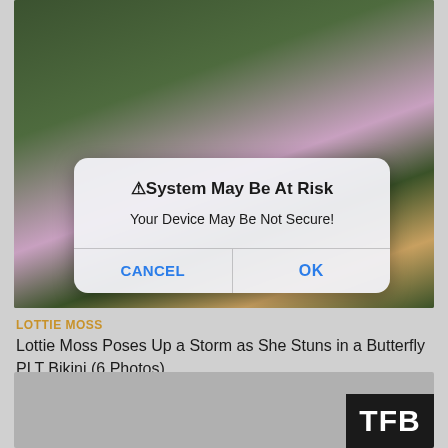[Figure (screenshot): Photo of a person wearing a white butterfly-print crop top, with flowers and foliage in the background. An iOS-style alert dialog overlay is shown on the photo.]
⚠System May Be At Risk
Your Device May Be Not Secure!
CANCEL  OK
LOTTIE MOSS
Lottie Moss Poses Up a Storm as She Stuns in a Butterfly PLT Bikini (6 Photos)
[Figure (screenshot): Bottom thumbnail image (blurred/grey) with TFB logo watermark in bottom right corner]